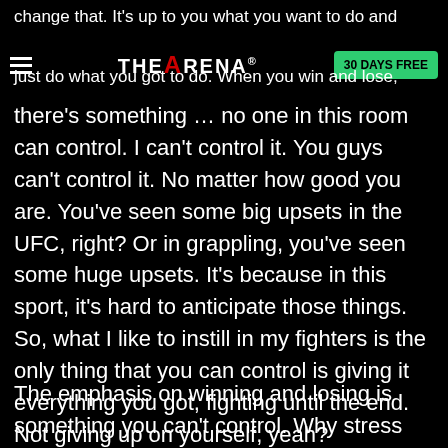change that. It's up to you what you want to do and just do what you got to do. When you win and lose,
there's something … no one in this room can control. I can't control it. You guys can't control it. No matter how good you are. You've seen some big upsets in the UFC, right? Or in grappling, you've seen some huge upsets. It's because in this sport, it's hard to anticipate those things. So, what I like to instill in my fighters is the only thing that you can control is giving it everything you got, fighting until the end. Not giving up on yourself, yeah?
The emphasis on winning and losing is something you can't control. Why stress about it? Don't stress